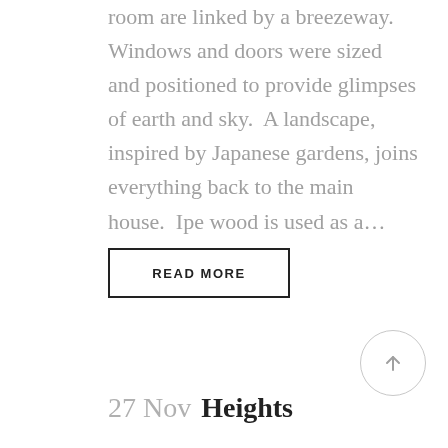room are linked by a breezeway.  Windows and doors were sized and positioned to provide glimpses of earth and sky.  A landscape, inspired by Japanese gardens, joins everything back to the main house.  Ipe wood is used as a…
READ MORE
[Figure (other): Scroll-to-top button: a circle with an upward-pointing arrow inside]
27 Nov Heights